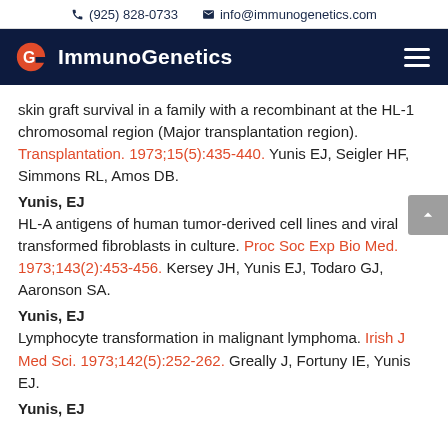(925) 828-0733   info@immunogenetics.com
[Figure (logo): ImmunoGenetics logo with orange G icon and white text on dark navy navigation bar]
skin graft survival in a family with a recombinant at the HL-1 chromosomal region (Major transplantation region). Transplantation. 1973;15(5):435-440. Yunis EJ, Seigler HF, Simmons RL, Amos DB.
Yunis, EJ
HL-A antigens of human tumor-derived cell lines and viral transformed fibroblasts in culture. Proc Soc Exp Bio Med. 1973;143(2):453-456. Kersey JH, Yunis EJ, Todaro GJ, Aaronson SA.
Yunis, EJ
Lymphocyte transformation in malignant lymphoma. Irish J Med Sci. 1973;142(5):252-262. Greally J, Fortuny IE, Yunis EJ.
Yunis, EJ